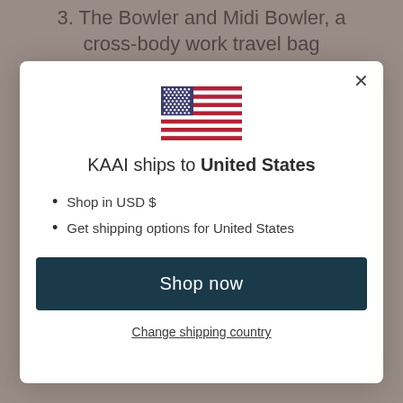3. The Bowler and Midi Bowler, a cross-body work travel bag
[Figure (illustration): US flag illustration centered in modal]
KAAI ships to United States
Shop in USD $
Get shipping options for United States
Shop now
Change shipping country